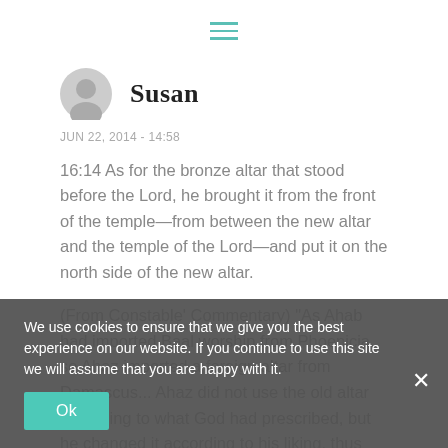[Figure (other): Hamburger menu icon with three teal horizontal lines]
[Figure (other): Grey circular user avatar/profile icon]
Susan
JUN 22, 2014 - 14:58
16:14 As for the bronze altar that stood before the Lord, he brought it from the front of the temple—from between the new altar and the temple of the Lord—and put it on the north side of the new altar.
(From Constable' Commentary) "As Ahab had imported Baal worship from Phoenicia, so Ahaz imported a foreign altar from Damascus... Ahaz did not use the old altar according to what God had prescribed, but he changed it according to his liking, thus claiming God's authority (v. 15)"
We use cookies to ensure that we give you the best experience on our website. If you continue to use this site we will assume that you are happy with it.